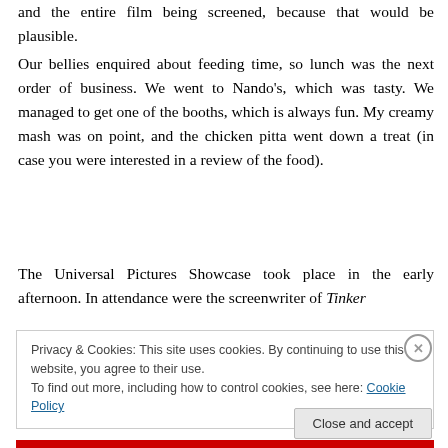and the entire film being screened, because that would be plausible.
Our bellies enquired about feeding time, so lunch was the next order of business. We went to Nando's, which was tasty. We managed to get one of the booths, which is always fun. My creamy mash was on point, and the chicken pitta went down a treat (in case you were interested in a review of the food).
The Universal Pictures Showcase took place in the early afternoon. In attendance were the screenwriter of Tinker
Privacy & Cookies: This site uses cookies. By continuing to use this website, you agree to their use.
To find out more, including how to control cookies, see here: Cookie Policy
Close and accept